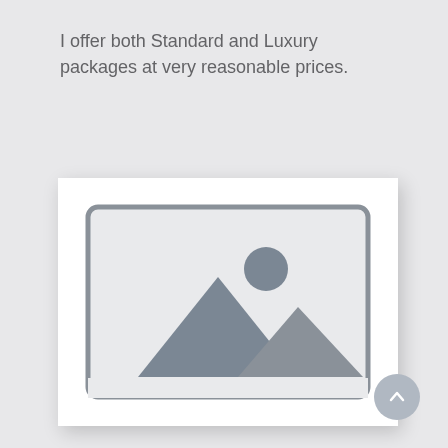I offer both Standard and Luxury packages at very reasonable prices.
[Figure (illustration): Placeholder image icon showing a landscape with mountains and a sun inside a rounded rectangle frame, on a white card with shadow.]